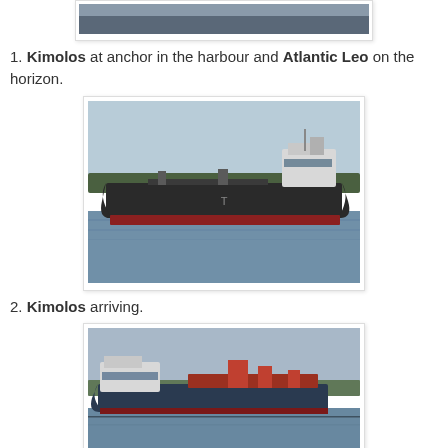[Figure (photo): Top portion of a ship photo cropped at top of page - partial view of a vessel at anchor in harbour]
1. Kimolos at anchor in the harbour and Atlantic Leo on the horizon.
[Figure (photo): Photo of the Kimolos tanker ship arriving, large black-hulled vessel with red waterline, seen from the side on water with forested shore in background]
2. Kimolos arriving.
[Figure (photo): Photo of a smaller cargo/tanker vessel with white superstructure and red hull details, seen from the side on water with land in background - partially cropped at bottom of page]